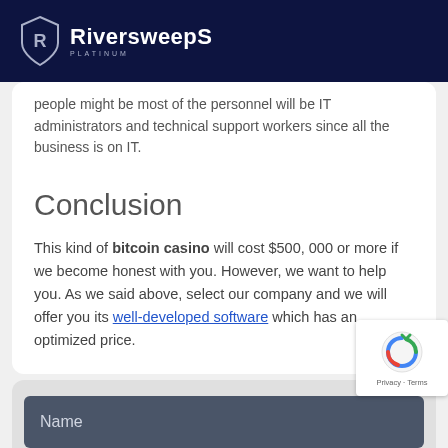RiversweepS PLATINUM
people might be most of the personnel will be IT administrators and technical support workers since all the business is on IT.
Conclusion
This kind of bitcoin casino will cost $500, 000 or more if we become honest with you. However, we want to help you. As we said above, select our company and we will offer you its well-developed software which has an optimized price.
Name